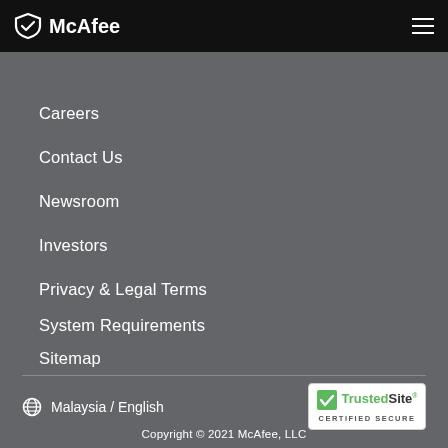McAfee
Careers
Contact Us
Newsroom
Investors
Privacy & Legal Terms
System Requirements
Sitemap
Malaysia / English
[Figure (logo): TrustedSite CERTIFIED SECURE badge]
Copyright © 2021 McAfee, LLC